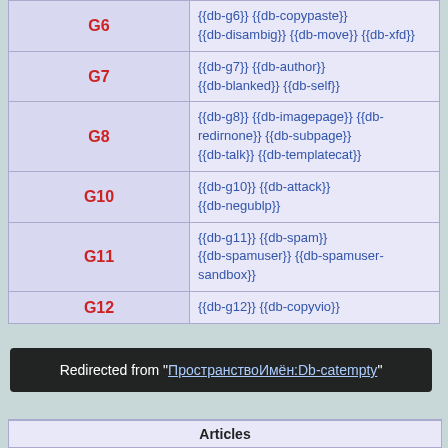| Label | Templates |
| --- | --- |
| G6 | {{db-g6}} {{db-copypaste}} {{db-disambig}} {{db-move}} {{db-xfd}} |
| G7 | {{db-g7}} {{db-author}} {{db-blanked}} {{db-self}} |
| G8 | {{db-g8}} {{db-imagepage}} {{db-redirnone}} {{db-subpage}} {{db-talk}} {{db-templatecat}} |
| G10 | {{db-g10}} {{db-attack}} {{db-negublp}} |
| G11 | {{db-g11}} {{db-spam}} {{db-spamuser}} {{db-spamuser-sandbox}} |
| G12 | {{db-g12}} {{db-copyvio}} |
Redirected from "ПространствоИмён:Db-catempty"
Articles